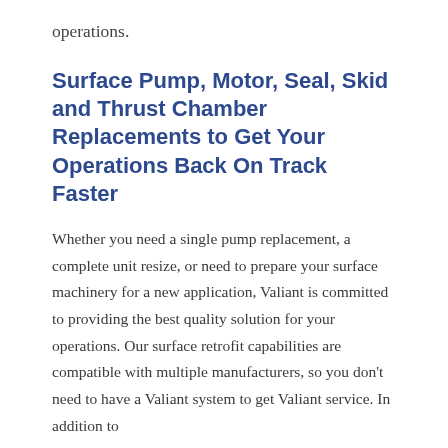operations.
Surface Pump, Motor, Seal, Skid and Thrust Chamber Replacements to Get Your Operations Back On Track Faster
Whether you need a single pump replacement, a complete unit resize, or need to prepare your surface machinery for a new application, Valiant is committed to providing the best quality solution for your operations. Our surface retrofit capabilities are compatible with multiple manufacturers, so you don't need to have a Valiant system to get Valiant service. In addition to